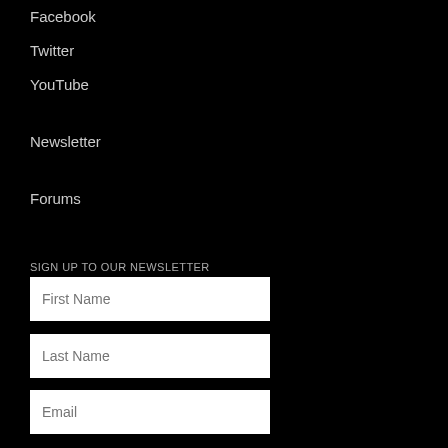Facebook
Twitter
YouTube
Newsletter
Forums
SIGN UP TO OUR NEWSLETTER
First Name
Last Name
Email
Subscribe!